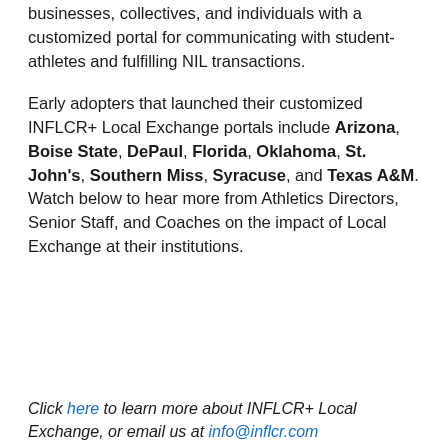businesses, collectives, and individuals with a customized portal for communicating with student-athletes and fulfilling NIL transactions.
Early adopters that launched their customized INFLCR+ Local Exchange portals include Arizona, Boise State, DePaul, Florida, Oklahoma, St. John's, Southern Miss, Syracuse, and Texas A&M. Watch below to hear more from Athletics Directors, Senior Staff, and Coaches on the impact of Local Exchange at their institutions.
Click here to learn more about INFLCR+ Local Exchange, or email us at info@inflcr.com